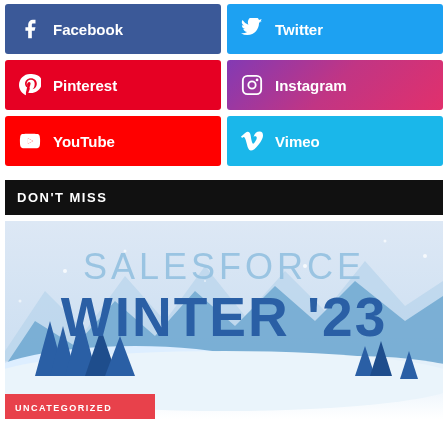[Figure (infographic): Social media buttons grid: Facebook (blue), Twitter (light blue), Pinterest (red), Instagram (purple-pink gradient), YouTube (red), Vimeo (light blue)]
DON'T MISS
[Figure (infographic): Salesforce Winter '23 promotional banner with snowy mountain landscape illustration and UNCATEGORIZED label]